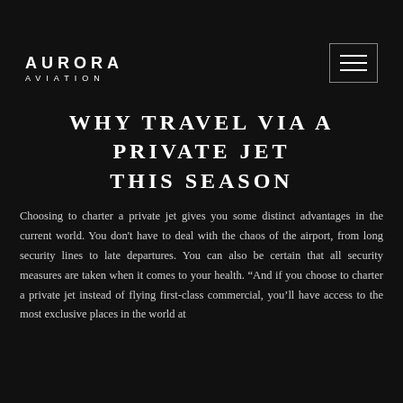AURORA AVIATION
WHY TRAVEL VIA A PRIVATE JET THIS SEASON
Choosing to charter a private jet gives you some distinct advantages in the current world. You don't have to deal with the chaos of the airport, from long security lines to late departures. You can also be certain that all security measures are taken when it comes to your health. “And if you choose to charter a private jet instead of flying first-class commercial, you'll have access to the most exclusive places in the world at